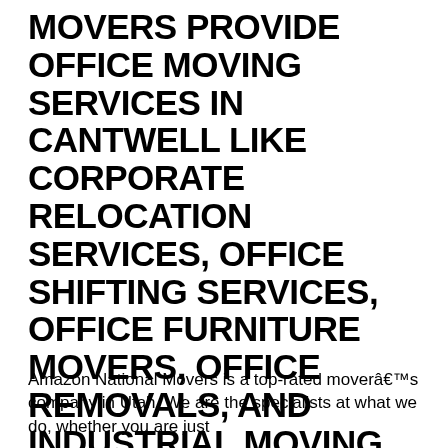MOVERS PROVIDE OFFICE MOVING SERVICES IN CANTWELL LIKE CORPORATE RELOCATION SERVICES, OFFICE SHIFTING SERVICES, OFFICE FURNITURE MOVERS, OFFICE REMOVALS, AND INDUSTRIAL MOVING SERVICES.
Amazon National Movers is a top-rated moverâ€™s company in Utah. We are the specialists at what we do, whether you are just